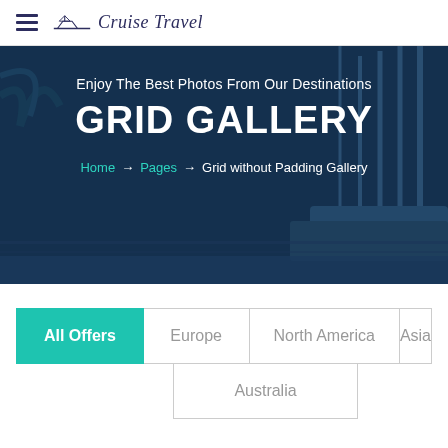Cruise Travel
Enjoy The Best Photos From Our Destinations
GRID GALLERY
Home → Pages → Grid without Padding Gallery
All Offers
Europe
North America
Asia
Australia